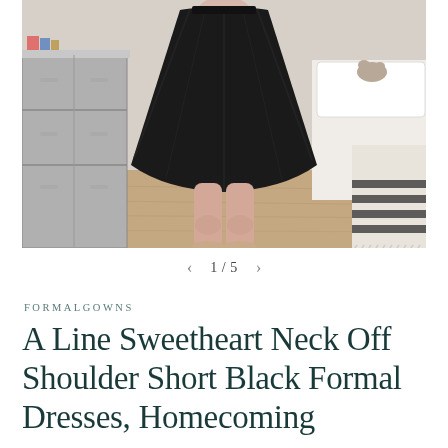[Figure (photo): Product photo showing a person from the waist down wearing a short black A-line flared skirt and flat shoes, standing in a bedroom setting with a white dresser on the left and a white bed/blanket on the right. The skirt is full and flared, showing the hemline above the knees.]
< 1/5 >
FORMALGOWNS
A Line Sweetheart Neck Off Shoulder Short Black Formal Dresses, Homecoming